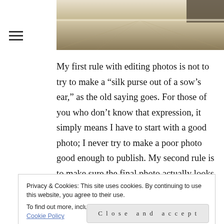[Figure (photo): Interior architectural photo showing a marble or stone floor receding into the distance, warm tone]
My first rule with editing photos is not to try to make a “silk purse out of a sow’s ear,” as the old saying goes. For those of you who don’t know that expression, it simply means I have to start with a good photo; I never try to make a poor photo good enough to publish. My second rule is to make sure the final photo actually looks like the scene I shot. I’m not a fan of over processed photos, or HDR photos that make the shots look like lithographs.
Privacy & Cookies: This site uses cookies. By continuing to use this website, you agree to their use.
To find out more, including how to control cookies, see here: Cookie Policy
medium exposure and then recapture the details in blown-